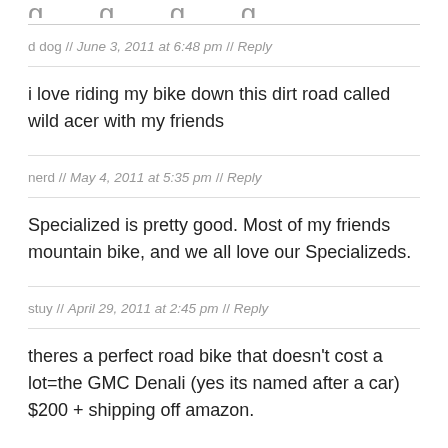d dog // June 3, 2011 at 6:48 pm // Reply
i love riding my bike down this dirt road called wild acer with my friends
nerd // May 4, 2011 at 5:35 pm // Reply
Specialized is pretty good. Most of my friends mountain bike, and we all love our Specializeds.
stuy // April 29, 2011 at 2:45 pm // Reply
theres a perfect road bike that doesn't cost a lot=the GMC Denali (yes its named after a car) $200 + shipping off amazon.